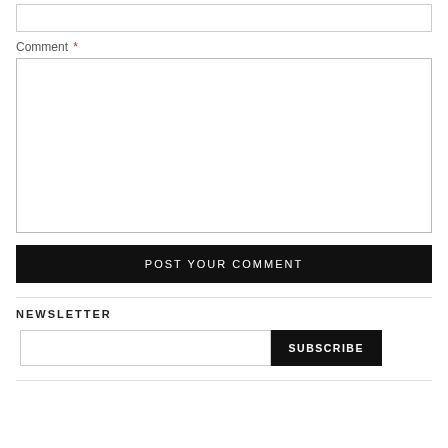Comment *
POST YOUR COMMENT
NEWSLETTER
SUBSCRIBE